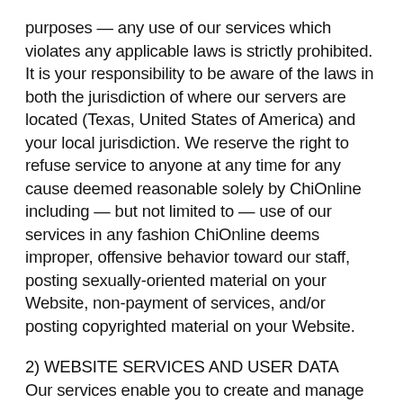purposes — any use of our services which violates any applicable laws is strictly prohibited. It is your responsibility to be aware of the laws in both the jurisdiction of where our servers are located (Texas, United States of America) and your local jurisdiction. We reserve the right to refuse service to anyone at any time for any cause deemed reasonable solely by ChiOnline including — but not limited to — use of our services in any fashion ChiOnline deems improper, offensive behavior toward our staff, posting sexually-oriented material on your Website, non-payment of services, and/or posting copyrighted material on your Website.
2) WEBSITE SERVICES AND USER DATA
Our services enable you to create and manage your own Website on nccaomdiplomates.com or a custom domain you or ChiOnline owns and manages. You